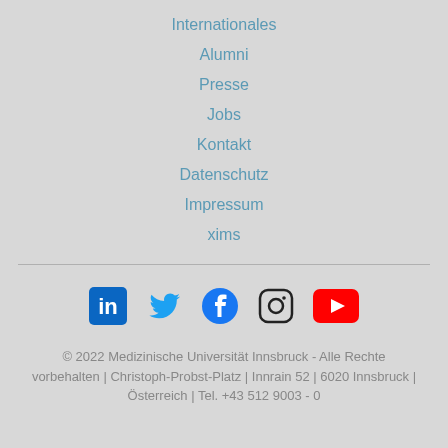Internationales
Alumni
Presse
Jobs
Kontakt
Datenschutz
Impressum
xims
[Figure (infographic): Social media icons: LinkedIn, Twitter, Facebook, Instagram, YouTube]
© 2022 Medizinische Universität Innsbruck - Alle Rechte vorbehalten | Christoph-Probst-Platz | Innrain 52 | 6020 Innsbruck | Österreich | Tel. +43 512 9003 - 0